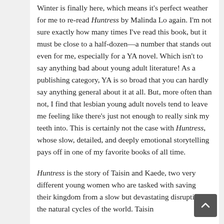Winter is finally here, which means it's perfect weather for me to re-read Huntress by Malinda Lo again. I'm not sure exactly how many times I've read this book, but it must be close to a half-dozen—a number that stands out even for me, especially for a YA novel. Which isn't to say anything bad about young adult literature! As a publishing category, YA is so broad that you can hardly say anything general about it at all. But, more often than not, I find that lesbian young adult novels tend to leave me feeling like there's just not enough to really sink my teeth into. This is certainly not the case with Huntress, whose slow, detailed, and deeply emotional storytelling pays off in one of my favorite books of all time.
Huntress is the story of Taisin and Kaede, two very different young women who are tasked with saving their kingdom from a slow but devastating disruption to the natural cycles of the world. Taisin